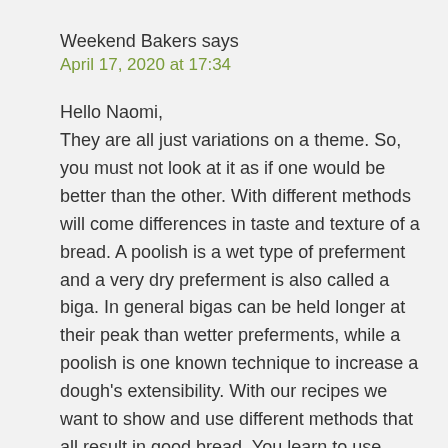Weekend Bakers says
April 17, 2020 at 17:34
Hello Naomi,
They are all just variations on a theme. So, you must not look at it as if one would be better than the other. With different methods will come differences in taste and texture of a bread. A poolish is a wet type of preferment and a very dry preferment is also called a biga. In general bigas can be held longer at their peak than wetter preferments, while a poolish is one known technique to increase a dough's extensibility. With our recipes we want to show and use different methods that all result in good bread. You learn to use them and discover what your personal preference is and what